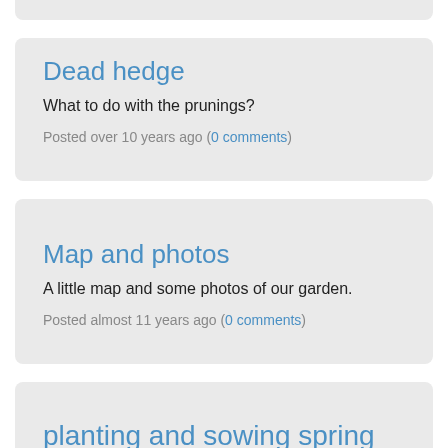Dead hedge
What to do with the prunings?
Posted over 10 years ago (0 comments)
Map and photos
A little map and some photos of our garden.
Posted almost 11 years ago (0 comments)
planting and sowing spring 2011